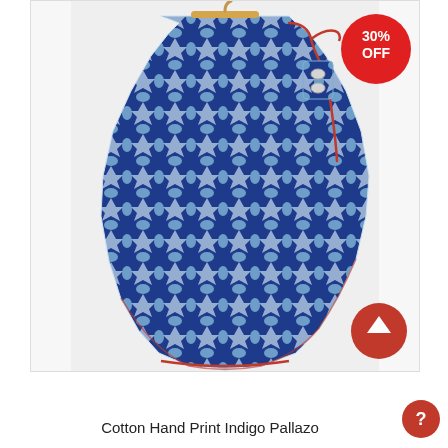[Figure (photo): A blue and white indigo hand-printed cotton pallazo/wide-leg pants displayed on a wooden hanger with red drawstring tie, showing a geometric star/lattice block print pattern. A red circular badge with '30% OFF' text is in the top-right corner of the photo. A red scroll-to-top arrow button is visible at the bottom-right.]
Cotton Hand Print Indigo Pallazo